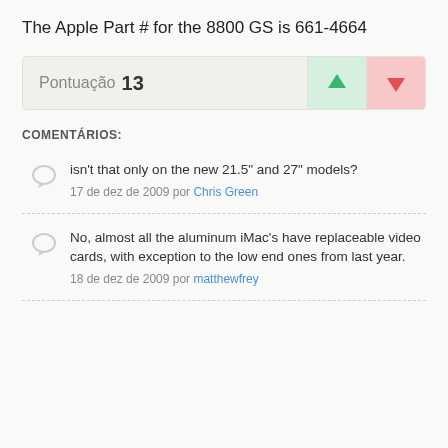The Apple Part # for the 8800 GS is 661-4664
Pontuação 13
COMENTÁRIOS:
isn't that only on the new 21.5" and 27" models?
17 de dez de 2009 por Chris Green
No, almost all the aluminum iMac's have replaceable video cards, with exception to the low end ones from last year.
18 de dez de 2009 por matthewfrey